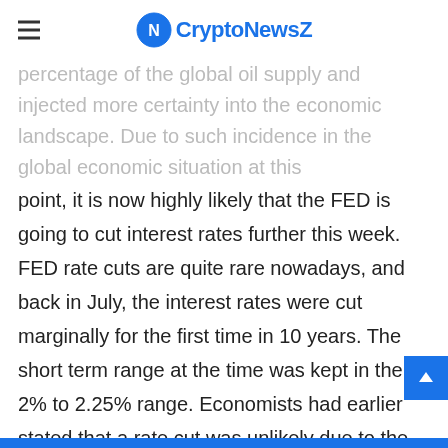CryptoNewsZ
percentage of the global oil supply and injected more certainty into the economic landscape. Due to such incidence in the global economic situation at this point, it is now highly likely that the FED is going to cut interest rates further this week. FED rate cuts are quite rare nowadays, and back in July, the interest rates were cut marginally for the first time in 10 years. The short term range at the time was kept in the 2% to 2.25% range. Economists had earlier stated that a rate cut was unlikely due to the resumption of trade talks and stabilization in oil prices. However, that is no longer the case, and there is a lot of uncertainty in the market at this point.
In addition to that, the head of the FED Jeremy Powell